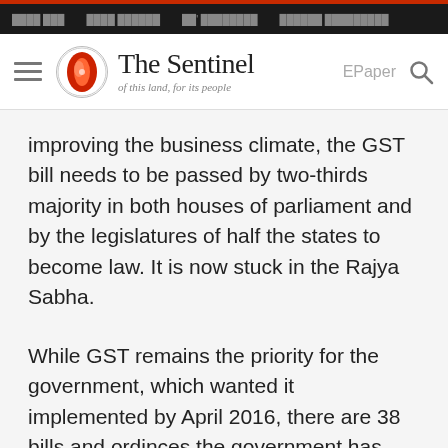The Sentinel - of this land, for its people
improving the business climate, the GST bill needs to be passed by two-thirds majority in both houses of parliament and by the legislatures of half the states to become law. It is now stuck in the Rajya Sabha.
While GST remains the priority for the government, which wanted it implemented by April 2016, there are 38 bills and ordinces the government has listed for the winter session.